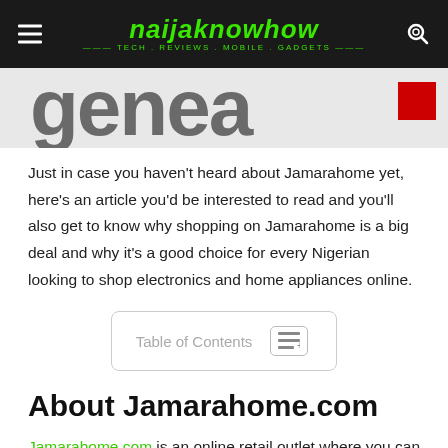naijaknowhow — TECH . REVIEWS . MOBILE . GADGETS
[Figure (screenshot): Partial hero image showing large grey letters and a red box in the top right corner]
Just in case you haven't heard about Jamarahome yet, here's an article you'd be interested to read and you'll also get to know why shopping on Jamarahome is a big deal and why it's a good choice for every Nigerian looking to shop electronics and home appliances online.
| Table of Contents |
| --- |
About Jamarahome.com
Jamarahome.com is an online retail outlet where you can